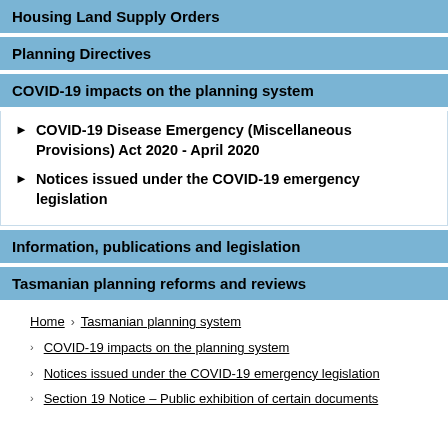Housing Land Supply Orders
Planning Directives
COVID-19 impacts on the planning system
COVID-19 Disease Emergency (Miscellaneous Provisions) Act 2020 - April 2020
Notices issued under the COVID-19 emergency legislation
Information, publications and legislation
Tasmanian planning reforms and reviews
Home › Tasmanian planning system
COVID-19 impacts on the planning system
Notices issued under the COVID-19 emergency legislation
Section 19 Notice – Public exhibition of certain documents